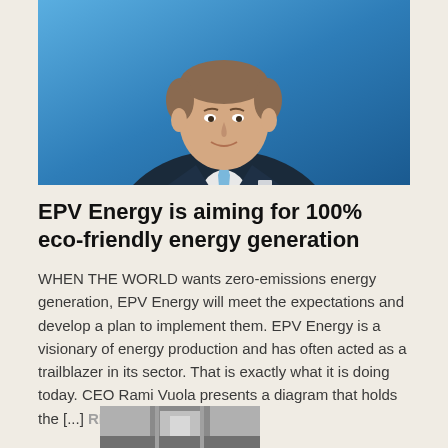[Figure (photo): Portrait photo of a smiling man in a dark suit with a light blue tie, against a blue background. This is CEO Rami Vuola.]
EPV Energy is aiming for 100% eco-friendly energy generation
WHEN THE WORLD wants zero-emissions energy generation, EPV Energy will meet the expectations and develop a plan to implement them. EPV Energy is a visionary of energy production and has often acted as a trailblazer in its sector. That is exactly what it is doing today. CEO Rami Vuola presents a diagram that holds the [...] READ MORE
[Figure (photo): Partial image at the bottom of the page, appears to show an industrial or energy facility building.]